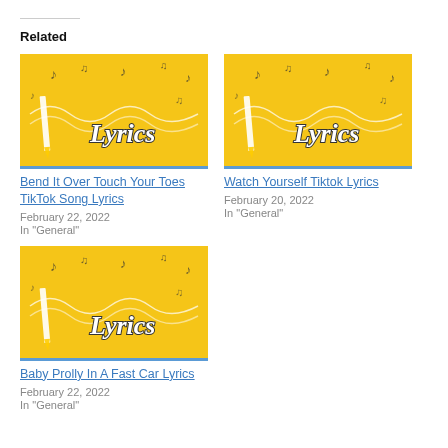Related
[Figure (illustration): Yellow background with music notes and 'Lyrics' text in stylized font with pencil illustration]
Bend It Over Touch Your Toes TikTok Song Lyrics
February 22, 2022
In "General"
[Figure (illustration): Yellow background with music notes and 'Lyrics' text in stylized font with pencil illustration]
Watch Yourself Tiktok Lyrics
February 20, 2022
In "General"
[Figure (illustration): Yellow background with music notes and 'Lyrics' text in stylized font with pencil illustration]
Baby Prolly In A Fast Car Lyrics
February 22, 2022
In "General"